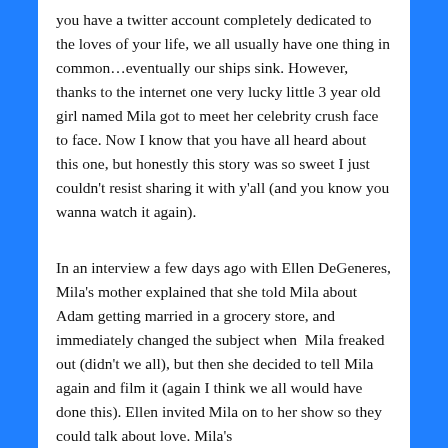you have a twitter account completely dedicated to the loves of your life, we all usually have one thing in common…eventually our ships sink. However, thanks to the internet one very lucky little 3 year old girl named Mila got to meet her celebrity crush face to face. Now I know that you have all heard about this one, but honestly this story was so sweet I just couldn't resist sharing it with y'all (and you know you wanna watch it again).
In an interview a few days ago with Ellen DeGeneres, Mila's mother explained that she told Mila about Adam getting married in a grocery store, and immediately changed the subject when  Mila freaked out (didn't we all), but then she decided to tell Mila again and film it (again I think we all would have done this). Ellen invited Mila on to her show so they could talk about love. Mila's